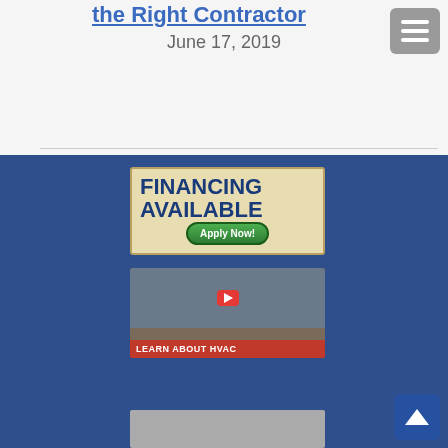the Right Contractor
June 17, 2019
[Figure (infographic): Financing Available - Apply Now! advertisement banner with blue text on beige/cream background with green Apply Now button]
[Figure (screenshot): Video thumbnail for Hvac Hot Water Heater Installation Chicago NW Indiana Arkansas with YouTube play button and LEARN ABOUT HVAC red banner]
[Figure (photo): Partially visible image thumbnail at bottom of page]